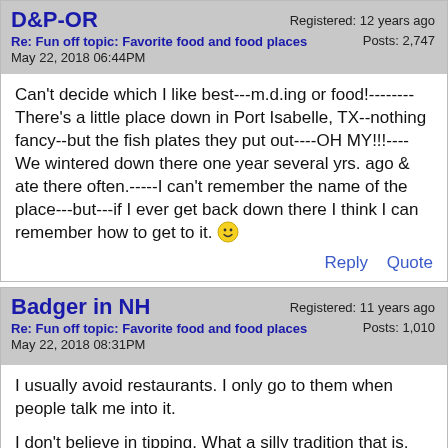D&P-OR
Re: Fun off topic: Favorite food and food places
May 22, 2018 06:44PM
Registered: 12 years ago
Posts: 2,747
Can't decide which I like best---m.d.ing or food!--------There's a little place down in Port Isabelle, TX--nothing fancy--but the fish plates they put out----OH MY!!!----We wintered down there one year several yrs. ago & ate there often.-----I can't remember the name of the place---but---if I ever get back down there I think I can remember how to get to it. 🙂
Reply   Quote
Badger in NH
Re: Fun off topic: Favorite food and food places
May 22, 2018 08:31PM
Registered: 11 years ago
Posts: 1,010
I usually avoid restaurants. I only go to them when people talk me into it.

I don't believe in tipping. What a silly tradition that is. Just give me the menu and tell me the price. I'm not paying the waitstaff to bring me my food.